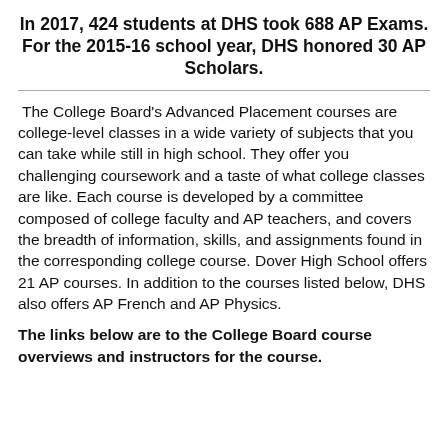In 2017, 424 students at DHS took 688 AP Exams. For the 2015-16 school year, DHS honored 30 AP Scholars.
The College Board's Advanced Placement courses are college-level classes in a wide variety of subjects that you can take while still in high school. They offer you challenging coursework and a taste of what college classes are like. Each course is developed by a committee composed of college faculty and AP teachers, and covers the breadth of information, skills, and assignments found in the corresponding college course. Dover High School offers 21 AP courses. In addition to the courses listed below, DHS also offers AP French and AP Physics.
The links below are to the College Board course overviews and instructors for the course.